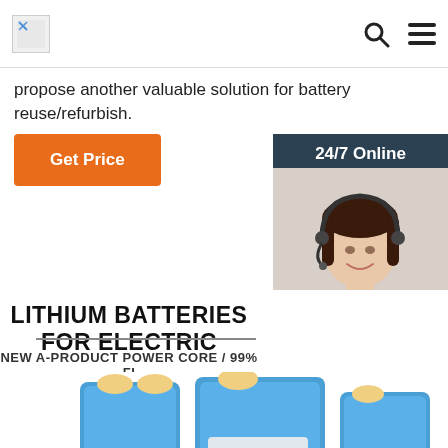[Logo] [Search icon] [Menu icon]
propose another valuable solution for battery reuse/refurbish.
Get Price
[Figure (photo): Customer service representative with headset, dark hair, smiling, with '24/7 Online' label and 'Click here for free chat!' and 'QUOTATION' button overlay in dark teal panel]
LITHIUM BATTERIES FOR ELECTRIC
NEW A-PRODUCT POWER CORE / 99% FI
[Figure (photo): Two blue lithium battery packs with black wiring and connectors on white background]